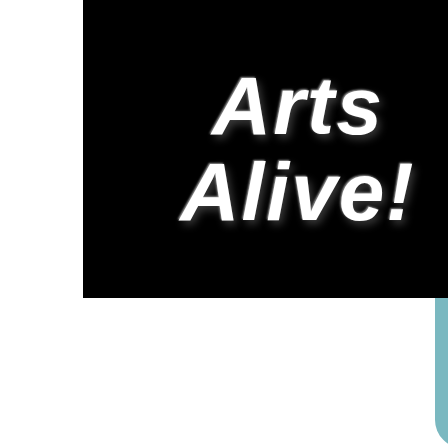[Figure (logo): Arts Alive! logo: white bold italic text on black background]
historic site

The town features restaurants, shops, bed & breakfast inns, camping areas